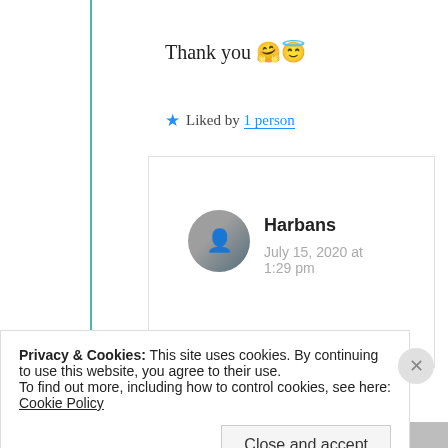Thank you 🤗😇
★ Liked by 1 person
Harbans
July 15, 2020 at 1:29 pm
My pleasure.🙏🙏🙏
Privacy & Cookies: This site uses cookies. By continuing to use this website, you agree to their use.
To find out more, including how to control cookies, see here: Cookie Policy
Close and accept